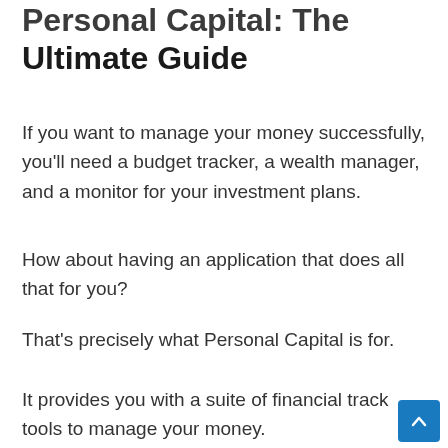Personal Capital: The Ultimate Guide
If you want to manage your money successfully, you'll need a budget tracker, a wealth manager, and a monitor for your investment plans.
How about having an application that does all that for you?
That's precisely what Personal Capital is for.
It provides you with a suite of financial tracking tools to manage your money.